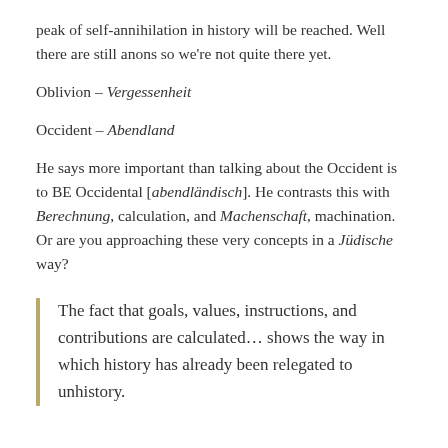peak of self-annihilation in history will be reached. Well there are still anons so we're not quite there yet.
Oblivion – Vergessenheit
Occident – Abendland
He says more important than talking about the Occident is to BE Occidental [abendländisch]. He contrasts this with Berechnung, calculation, and Machenschaft, machination. Or are you approaching these very concepts in a Jüdische way?
The fact that goals, values, instructions, and contributions are calculated… shows the way in which history has already been relegated to unhistory.